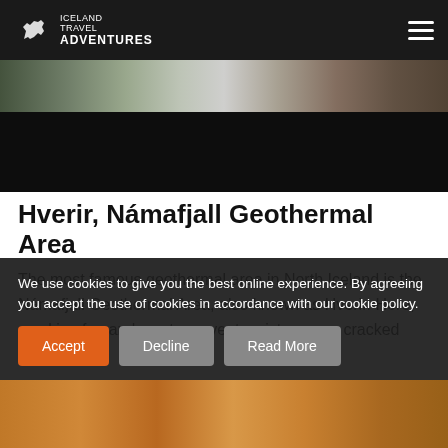ICELAND TRAVEL ADVENTURES
[Figure (photo): Partially visible hero image showing snowy mountainous landscape with rocky terrain, mostly obscured by dark overlay]
Hverir, Námafjall Geothermal Area
The most famous geothermal area in North Iceland is the Námafjall Geothermal Area, also known as Hverir. Here, smoking fumaroles, steam vents, picturesque cracked mud,
We use cookies to give you the best online experience. By agreeing you accept the use of cookies in accordance with our cookie policy.
[Figure (photo): Bottom strip showing orange/brown geothermal landscape]